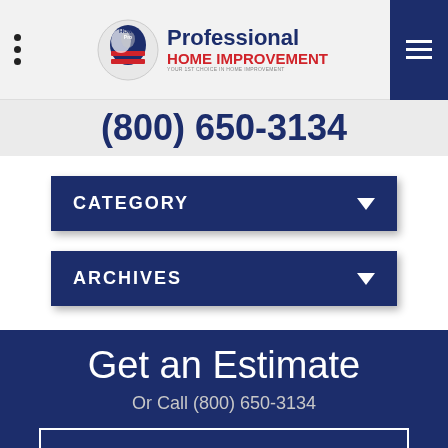HomePro Professional Home Improvement - Your 1st Choice in Home Improvement
(800) 650-3134
CATEGORY
ARCHIVES
Get an Estimate
Or Call (800) 650-3134
REQUEST A QUOTE